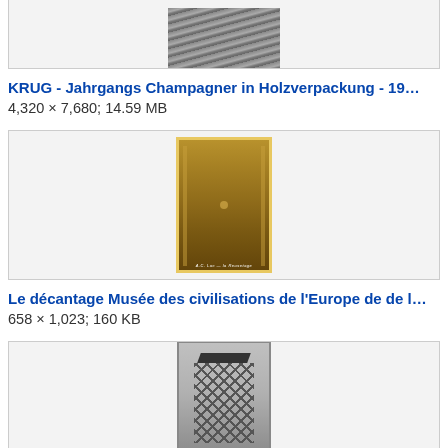[Figure (photo): Partial view of a dark photograph showing lined/ridged surface, cut off at top]
KRUG - Jahrgangs Champagner in Holzverpackung - 19…
4,320 × 7,680; 14.59 MB
[Figure (photo): Sepia-toned historical photograph showing a long corridor or cellar with stacked wine bottles on both sides, with a figure visible in the background]
Le décantage Musée des civilisations de l'Europe de de l…
658 × 1,023; 160 KB
[Figure (photo): Black and white photograph showing what appears to be a large ridged or latticed structure outdoors in a landscape]